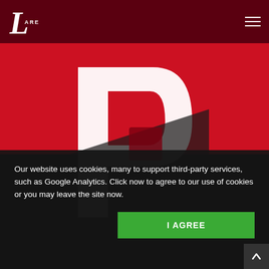Lares
[Figure (illustration): Large stylized letter P graphic in white over a red and dark background, partially cropped]
Our website uses cookies, many to support third-party services, such as Google Analytics. Click now to agree to our use of cookies or you may leave the site now.
I AGREE